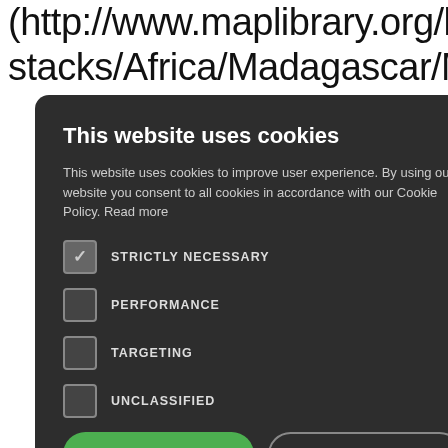(http://www.maplibrary.org/library/stacks/Africa/Madagascar/Mahajan/index.ht   Detecting e to sat MSS. eering and 303– alvin, K. The e change. 7) tro, A. J., rente, M. se change on ecosystem services and
[Figure (screenshot): Cookie consent modal dialog with dark background. Title: 'This website uses cookies'. Body text: 'This website uses cookies to improve user experience. By using our website you consent to all cookies in accordance with our Cookie Policy. Read more'. Four cookie options with checkboxes: STRICTLY NECESSARY (checked), PERFORMANCE (unchecked), TARGETING (unchecked), UNCLASSIFIED (unchecked). Two buttons: ACCEPT ALL (green) and DECLINE ALL (outlined). Show details link at bottom.]